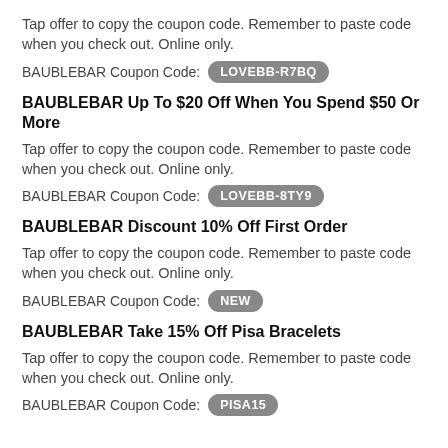Tap offer to copy the coupon code. Remember to paste code when you check out. Online only.
BAUBLEBAR Coupon Code: LOVEBB-R7BQ
BAUBLEBAR Up To $20 Off When You Spend $50 Or More
Tap offer to copy the coupon code. Remember to paste code when you check out. Online only.
BAUBLEBAR Coupon Code: LOVEBB-8TY9
BAUBLEBAR Discount 10% Off First Order
Tap offer to copy the coupon code. Remember to paste code when you check out. Online only.
BAUBLEBAR Coupon Code: NEW
BAUBLEBAR Take 15% Off Pisa Bracelets
Tap offer to copy the coupon code. Remember to paste code when you check out. Online only.
BAUBLEBAR Coupon Code: PISA15